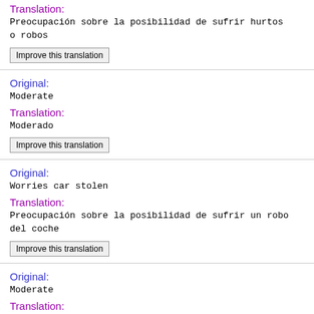Translation:
Preocupación sobre la posibilidad de sufrir hurtos o robos
Improve this translation
Original:
Moderate
Translation:
Moderado
Improve this translation
Original:
Worries car stolen
Translation:
Preocupación sobre la posibilidad de sufrir un robo del coche
Improve this translation
Original:
Moderate
Translation:
Moderado